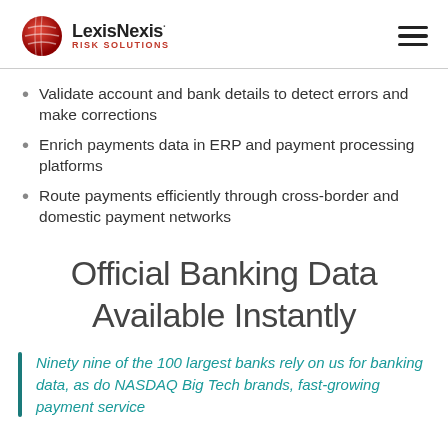LexisNexis Risk Solutions
Validate account and bank details to detect errors and make corrections
Enrich payments data in ERP and payment processing platforms
Route payments efficiently through cross-border and domestic payment networks
Official Banking Data Available Instantly
Ninety nine of the 100 largest banks rely on us for banking data, as do NASDAQ Big Tech brands, fast-growing payment service